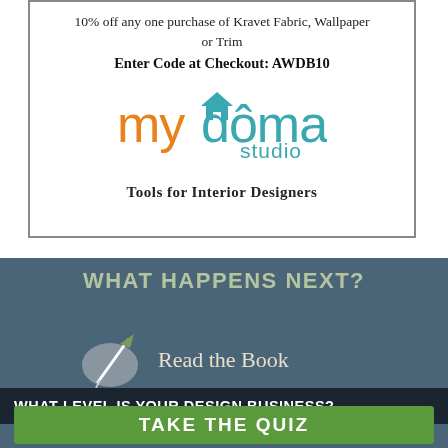10% off any one purchase of Kravet Fabric, Wallpaper or Trim
Enter Code at Checkout: AWDB10
[Figure (logo): mydoma studio logo — orange and teal stylized text with house icon]
Tools for Interior Designers
WHAT HAPPENS NEXT?
Read the Book
WHAT LEVEL IS YOUR DESIGN BUSINESS?
TAKE THE QUIZ